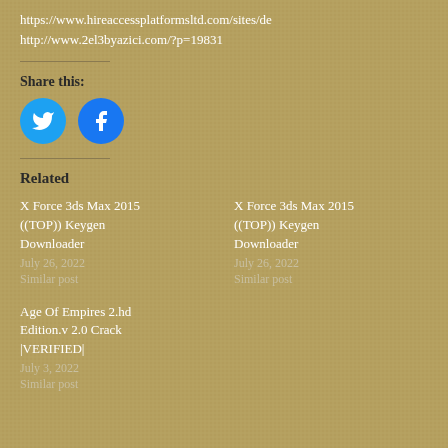https://www.hireaccessplatformsltd.com/sites/de
http://www.2el3byazici.com/?p=19831
Share this:
[Figure (illustration): Twitter and Facebook share buttons as blue circles with icons]
Related
X Force 3ds Max 2015 ((TOP)) Keygen Downloader
July 26, 2022
Similar post
X Force 3ds Max 2015 ((TOP)) Keygen Downloader
July 26, 2022
Similar post
Age Of Empires 2.hd Edition.v 2.0 Crack |VERIFIED|
July 3, 2022
Similar post